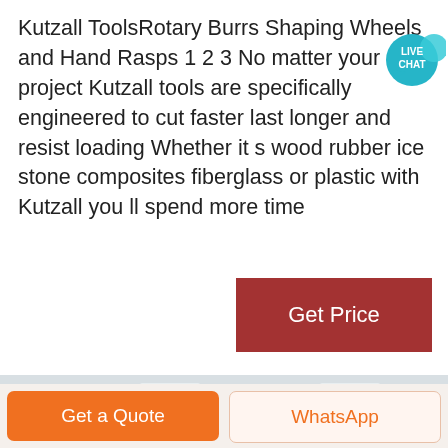Kutzall ToolsRotary Burrs Shaping Wheels and Hand Rasps 1 2 3 No matter your project Kutzall tools are specifically engineered to cut faster last longer and resist loading Whether it s wood rubber ice stone composites fiberglass or plastic with Kutzall you ll spend more time
[Figure (illustration): Live Chat badge icon — teal speech bubble with 'LIVE CHAT' text]
[Figure (other): Red 'Get Price' button]
[Figure (photo): Industrial factory interior with a large cylindrical machine/column with orange ring and bolted flanges, metal structure and ceiling beams visible in background]
[Figure (other): Bottom bar with orange 'Get a Quote' button and light 'WhatsApp' button]